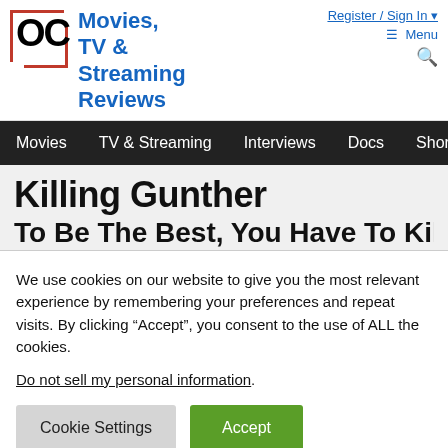OC Movies, TV & Streaming Reviews | Register / Sign In | Menu
Movies  TV & Streaming  Interviews  Docs  Shor
Killing Gunther
To Be The Best, You Have To Kill The
We use cookies on our website to give you the most relevant experience by remembering your preferences and repeat visits. By clicking “Accept”, you consent to the use of ALL the cookies. Do not sell my personal information.
Cookie Settings  Accept